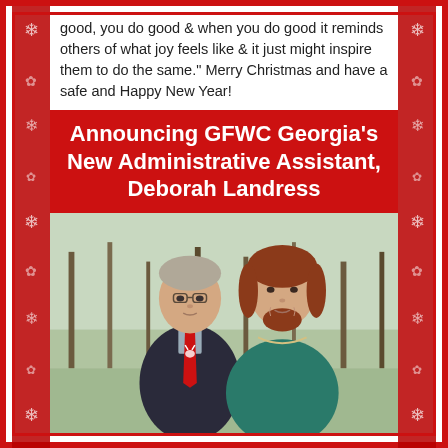good, you do good & when you do good it reminds others of what joy feels like & it just might inspire them to do the same." Merry Christmas and have a safe and Happy New Year!
Announcing GFWC Georgia's New Administrative Assistant, Deborah Landress
[Figure (photo): A man in a dark suit with a red holiday tie and a woman in a teal/green top, standing outdoors with bare trees in the background.]